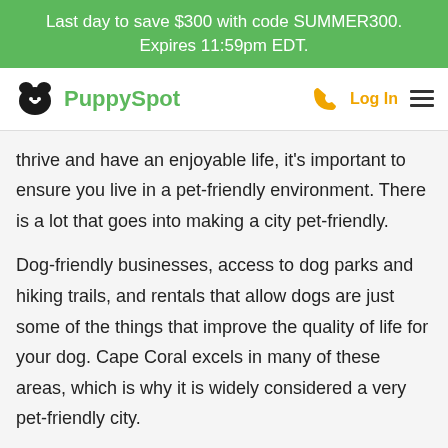Last day to save $300 with code SUMMER300. Expires 11:59pm EDT.
PuppySpot — Log In
thrive and have an enjoyable life, it's important to ensure you live in a pet-friendly environment. There is a lot that goes into making a city pet-friendly.
Dog-friendly businesses, access to dog parks and hiking trails, and rentals that allow dogs are just some of the things that improve the quality of life for your dog. Cape Coral excels in many of these areas, which is why it is widely considered a very pet-friendly city.
Dog parks and outdoor activities in Cape Coral